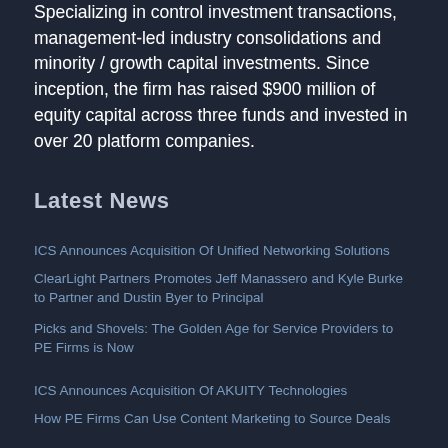Specializing in control investment transactions, management-led industry consolidations and minority / growth capital investments. Since inception, the firm has raised $900 million of equity capital across three funds and invested in over 20 platform companies.
Latest News
ICS Announces Acquisition Of Unified Networking Solutions
ClearLight Partners Promotes Jeff Manassero and Kyle Burke to Partner and Dustin Byer to Principal
Picks and Shovels: The Golden Age for Service Providers to PE Firms is Now
ICS Announces Acquisition Of AKUITY Technologies
How PE Firms Can Use Content Marketing to Source Deals